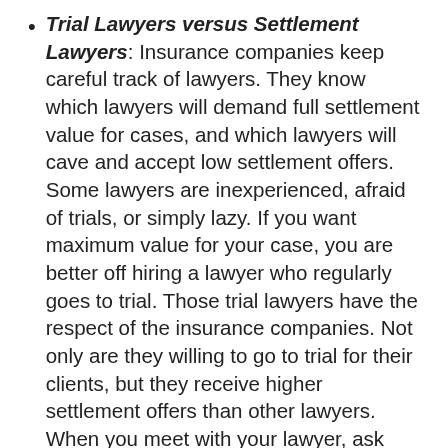Trial Lawyers versus Settlement Lawyers: Insurance companies keep careful track of lawyers.  They know which lawyers will demand full settlement value for cases, and which lawyers will cave and accept low settlement offers.  Some lawyers are inexperienced, afraid of trials, or simply lazy.  If you want maximum value for your case, you are better off hiring a lawyer who regularly goes to trial.  Those trial lawyers have the respect of the insurance companies.  Not only are they willing to go to trial for their clients, but they receive higher settlement offers than other lawyers.  When you meet with your lawyer, ask him or her how many trials the firm has had in the past year.
Lawyer Discipline:  The legal profession is self-regulating, which means that there is an internal system to keep an eye on lawyer